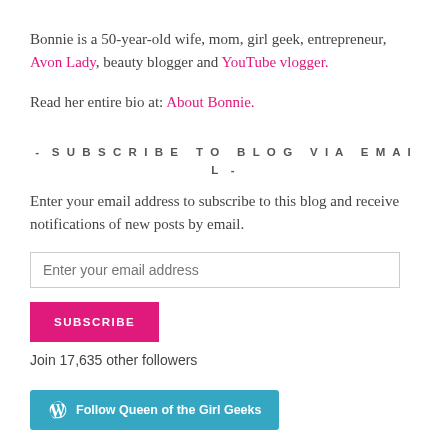Bonnie is a 50-year-old wife, mom, girl geek, entrepreneur, Avon Lady, beauty blogger and YouTube vlogger.
Read her entire bio at: About Bonnie.
- SUBSCRIBE TO BLOG VIA EMAIL -
Enter your email address to subscribe to this blog and receive notifications of new posts by email.
Enter your email address
SUBSCRIBE
Join 17,635 other followers
Follow Queen of the Girl Geeks